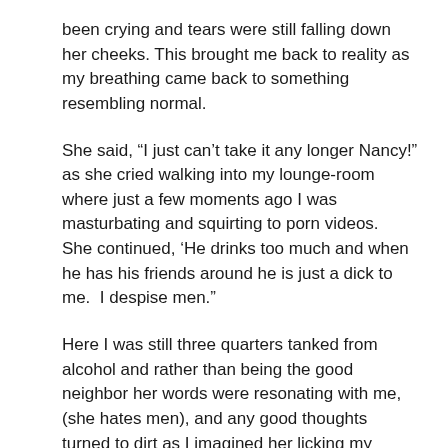been crying and tears were still falling down her cheeks. This brought me back to reality as my breathing came back to something resembling normal.
She said, “I just can’t take it any longer Nancy!” as she cried walking into my lounge-room where just a few moments ago I was masturbating and squirting to porn videos.  She continued, ‘He drinks too much and when he has his friends around he is just a dick to me.  I despise men.”
Here I was still three quarters tanked from alcohol and rather than being the good neighbor her words were resonating with me, (she hates men), and any good thoughts turned to dirt as I imagined her licking my already raw cunt and what depraved things she could do with it.